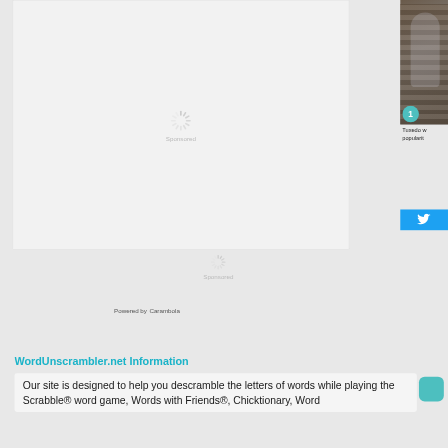[Figure (other): Large sponsored ad placeholder box with a loading spinner icon and 'Sponsored' text, light gray background with border]
[Figure (photo): Right-side panel showing partial photo of a person in front of bookshelves, with a teal circle badge showing '1', text 'Tuxedo w... popularit...', and a blue Twitter button]
[Figure (other): Small sponsored ad placeholder with loading spinner icon and 'Sponsored' text]
Powered by Carambola
WordUnscrambler.net Information
Our site is designed to help you descramble the letters of words while playing the Scrabble® word game, Words with Friends®, Chicktionary, Word...